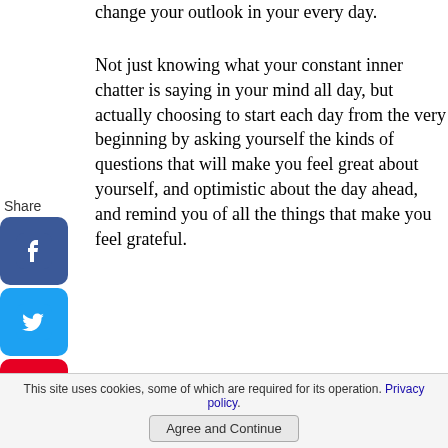change your outlook in your every day.
Not just knowing what your constant inner chatter is saying in your mind all day, but actually choosing to start each day from the very beginning by asking yourself the kinds of questions that will make you feel great about yourself, and optimistic about the day ahead, and remind you of all the things that make you feel grateful.
[Figure (infographic): Share sidebar with Facebook, Twitter, Pinterest, Tumblr, Reddit, and WhatsApp social media icons stacked vertically with 'Share' label at top]
It's a big session, but sooooo worth doing it, so get stuck into it and create your own sets of positive questions to ask yourself every morning and through the day when you need to fly straight.
Assignment Action:
This site uses cookies, some of which are required for its operation. Privacy policy.
Agree and Continue